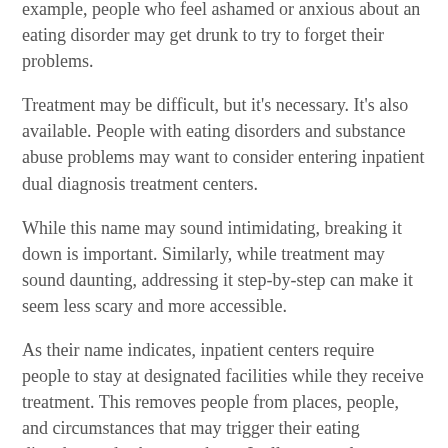example, people who feel ashamed or anxious about an eating disorder may get drunk to try to forget their problems.
Treatment may be difficult, but it's necessary. It's also available. People with eating disorders and substance abuse problems may want to consider entering inpatient dual diagnosis treatment centers.
While this name may sound intimidating, breaking it down is important. Similarly, while treatment may sound daunting, addressing it step-by-step can make it seem less scary and more accessible.
As their name indicates, inpatient centers require people to stay at designated facilities while they receive treatment. This removes people from places, people, and circumstances that may trigger their eating disorders and substance abuse. It allows people to press the reset buttons on their lives.